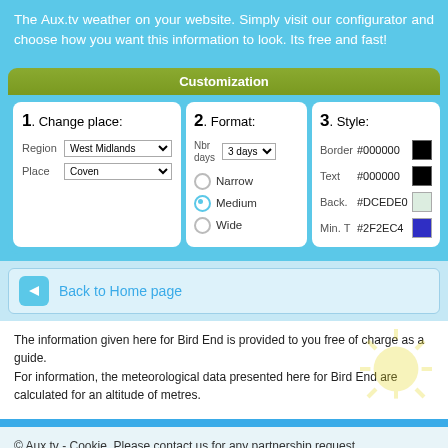The Aux.tv weather on your website. Simply visit our configurator and choose how you want this information to look. Its free and fast!
Customization
[Figure (screenshot): Customization panel with three sections: 1. Change place (Region: West Midlands, Place: Coven), 2. Format (Nbr days: 3 days, radio buttons: Narrow, Medium selected, Wide), 3. Style (Border #000000, Text #000000, Back. #DCEDE0, Min. T #2F2EC4 with color swatches)]
Back to Home page
The information given here for Bird End is provided to you free of charge as a guide.
For information, the meteorological data presented here for Bird End are calculated for an altitude of metres.
© Aux.tv - Cookie. Please contact us for any partnership request.